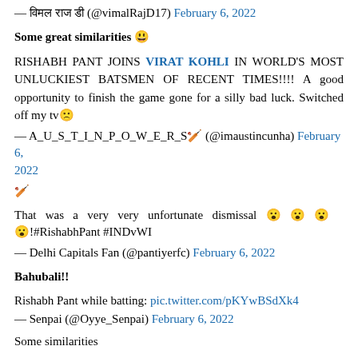— विमल राज डी (@vimalRajD17) February 6, 2022
Some great similarities 😃
RISHABH PANT JOINS VIRAT KOHLI IN WORLD'S MOST UNLUCKIEST BATSMEN OF RECENT TIMES!!!! A good opportunity to finish the game gone for a silly bad luck. Switched off my tv🙁
— A_U_S_T_I_N_P_O_W_E_R_S🏏 (@imaustincunha) February 6, 2022
🏏
That was a very very unfortunate dismissal 😮 😮 😮 😮!#RishabhPant #INDvWI
— Delhi Capitals Fan (@pantiyerfc) February 6, 2022
Bahubali!!
Rishabh Pant while batting: pic.twitter.com/pKYwBSdXk4
— Senpai (@Oyye_Senpai) February 6, 2022
Some similarities